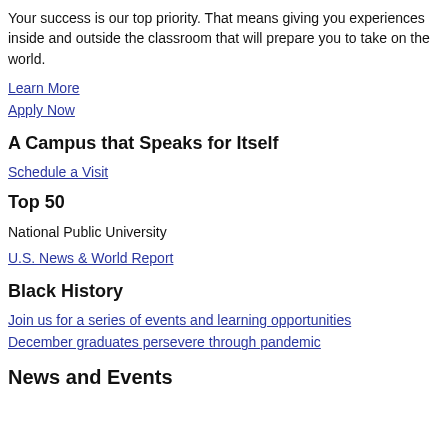Your success is our top priority. That means giving you experiences inside and outside the classroom that will prepare you to take on the world.
Learn More
Apply Now
A Campus that Speaks for Itself
Schedule a Visit
Top 50
National Public University
U.S. News & World Report
Black History
Join us for a series of events and learning opportunities
December graduates persevere through pandemic
News and Events